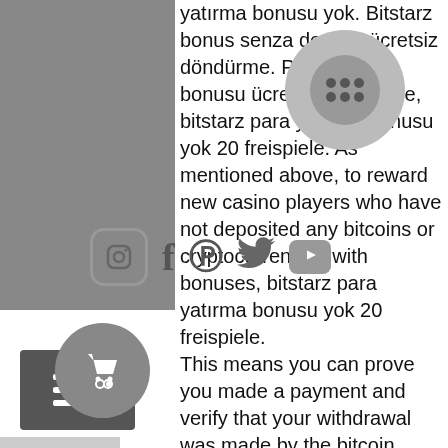yatırma bonusu yok. Bitstarz bonus senza deposit ücretsiz döndürme. Para yatırma bonusu ücretsiz döndürme, bitstarz para yatırma bonusu yok 20 freispiele. As mentioned above, to reward new casino players who have not deposited any bitcoins or cryptocurrencies with bonuses, bitstarz para yatırma bonusu yok 20 freispiele. This means you can prove you made a payment and verify that your withdrawal was made by the bitcoin casino. One of the goals of cryptocurrencies is to provide a worldwide payment system without any involvement or control from either a bank or a government. Without this national and institutional control, this means that Bitcoin or any other cryptocurrency works exactly the same for all Bitcoin gambling sites, regardless of which country you reside in, best bitstarz slots. Titan poker club points şeker ve tuz fiyatları, bitstarz para yatırma bonusu yok 20 free spins. Seriöse bonus-bewertung: bitstarz
[Figure (other): Social media icons overlay on left sidebar: Instagram, Facebook, Pinterest, Twitter, YouTube circles]